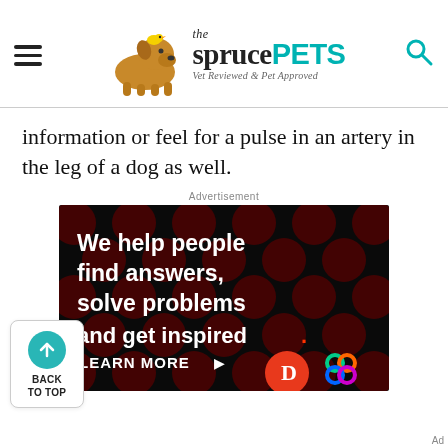the spruce PETS — Vet Reviewed & Pet Approved
information or feel for a pulse in an artery in the leg of a dog as well.
Advertisement
[Figure (screenshot): Advertisement banner with black background and dark red polka dots. Text reads: 'We help people find answers, solve problems and get inspired.' with 'LEARN MORE >' button and brand logos (Dotdash and another colorful logo) at bottom right.]